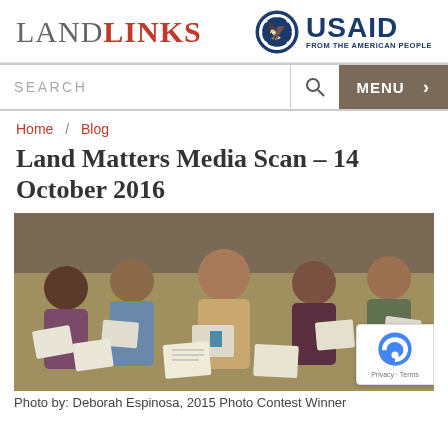LANDLINKS | USAID FROM THE AMERICAN PEOPLE
SEARCH | MENU >
Home / Blog
Land Matters Media Scan – 14 October 2016
[Figure (photo): Group of Indian women sitting together and holding up land documents/certificates, smiling at the camera. Photo by Deborah Espinosa, 2015 Photo Contest Winner.]
Photo by: Deborah Espinosa, 2015 Photo Contest Winner